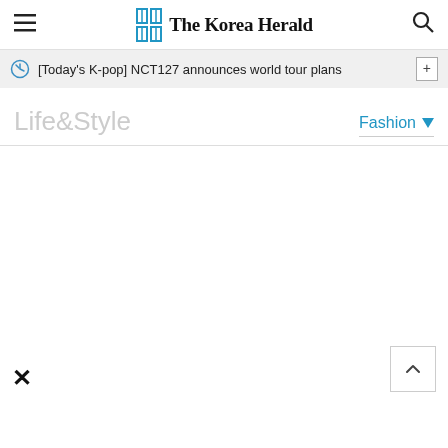The Korea Herald
[Today's K-pop] NCT127 announces world tour plans
Life&Style
Fashion